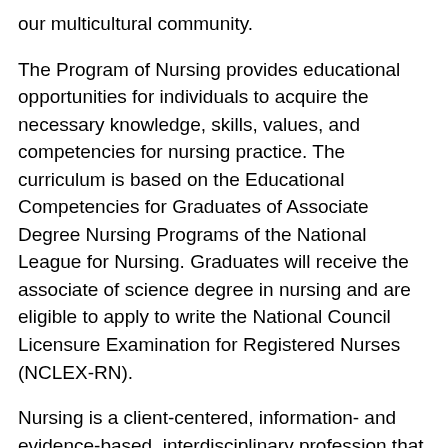our multicultural community.
The Program of Nursing provides educational opportunities for individuals to acquire the necessary knowledge, skills, values, and competencies for nursing practice. The curriculum is based on the Educational Competencies for Graduates of Associate Degree Nursing Programs of the National League for Nursing. Graduates will receive the associate of science degree in nursing and are eligible to apply to write the National Council Licensure Examination for Registered Nurses (NCLEX-RN).
Nursing is a client-centered, information- and evidence-based, interdisciplinary profession that provides safe, quality health care. The focus of nursing is the client (individual, family, and groups). Nursing uses a holistic approach to meet the health needs of the client and involves the systematic collection of data and utilization of scientific research. The nurse collaborates with a client-centered team to provide a high